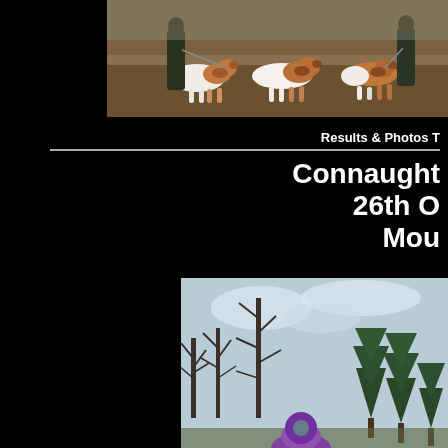[Figure (photo): Dogs (spaniels, brown and white) on leashes being held by handlers in a field of heather/grass.]
Results & Photos T
Connaught
26th O
Mou
[Figure (photo): Outdoor scene with bare trees and evergreen trees against a cloudy sky; person partially visible at bottom.]